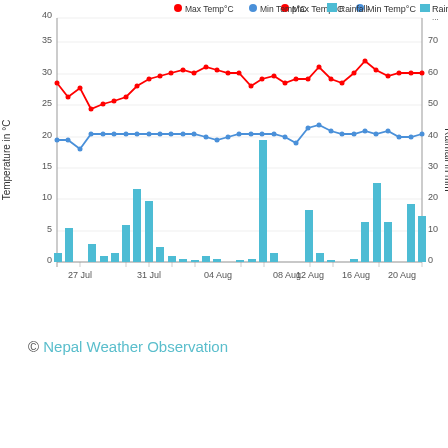[Figure (line-chart): ]
© Nepal Weather Observation